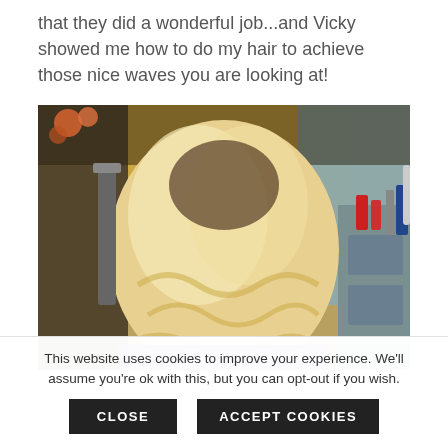that they did a wonderful job...and Vicky showed me how to do my hair to achieve those nice waves you are looking at!
[Figure (photo): Back view of a person with blonde wavy hair in a hair salon. Salon equipment and mirrors visible in the background.]
This website uses cookies to improve your experience. We'll assume you're ok with this, but you can opt-out if you wish.
CLOSE   ACCEPT COOKIES